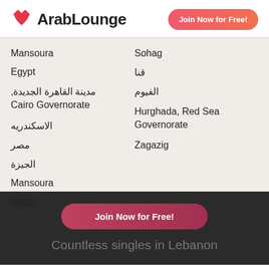[Figure (logo): ArabLounge logo with heart icon and text]
Join Now for Free!
Mansoura
Egypt
مدينة القاهرة الجديدة, Cairo Governorate
الاسكندريه
مصر
الجيزة
Mansoura
Egypt
Sohag
قنا
الفيوم
Hurghada, Red Sea Governorate
Zagazig
Join Now for Free!
Countless singles in Lebanon